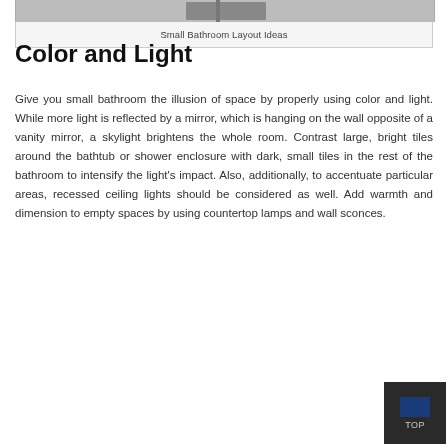[Figure (photo): Partial view of a small bathroom at the top of the page]
Small Bathroom Layout Ideas
Color and Light
Give you small bathroom the illusion of space by properly using color and light. While more light is reflected by a mirror, which is hanging on the wall opposite of a vanity mirror, a skylight brightens the whole room. Contrast large, bright tiles around the bathtub or shower enclosure with dark, small tiles in the rest of the bathroom to intensify the light’s impact. Also, additionally, to accentuate particular areas, recessed ceiling lights should be considered as well. Add warmth and dimension to empty spaces by using countertop lamps and wall sconces.